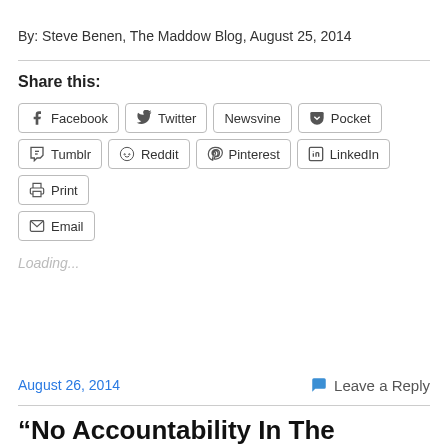By: Steve Benen, The Maddow Blog, August 25, 2014
Share this:
Facebook  Twitter  Newsvine  Pocket  Tumblr  Reddit  Pinterest  LinkedIn  Print  Email
Loading...
August 26, 2014
Leave a Reply
“No Accountability In The